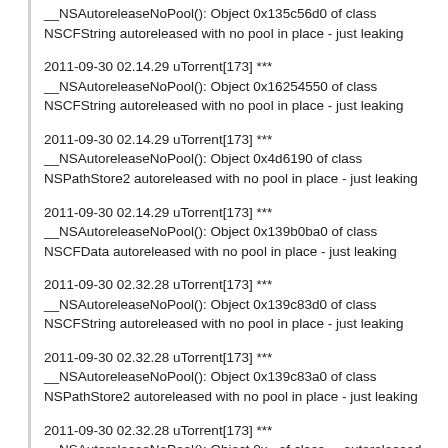__NSAutoreleaseNoPool(): Object 0x135c56d0 of class NSCFString autoreleased with no pool in place - just leaking
2011-09-30 02.14.29 uTorrent[173] ***
__NSAutoreleaseNoPool(): Object 0x16254550 of class NSCFString autoreleased with no pool in place - just leaking
2011-09-30 02.14.29 uTorrent[173] ***
__NSAutoreleaseNoPool(): Object 0x4d6190 of class NSPathStore2 autoreleased with no pool in place - just leaking
2011-09-30 02.14.29 uTorrent[173] ***
__NSAutoreleaseNoPool(): Object 0x139b0ba0 of class NSCFData autoreleased with no pool in place - just leaking
2011-09-30 02.32.28 uTorrent[173] ***
__NSAutoreleaseNoPool(): Object 0x139c83d0 of class NSCFString autoreleased with no pool in place - just leaking
2011-09-30 02.32.28 uTorrent[173] ***
__NSAutoreleaseNoPool(): Object 0x139c83a0 of class NSPathStore2 autoreleased with no pool in place - just leaking
2011-09-30 02.32.28 uTorrent[173] ***
__NSAutoreleaseNoPool(): Object 0x...of class ... autoreleased with no pool in place - just leaking